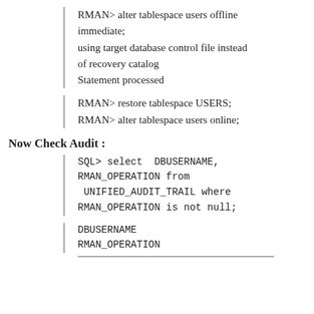RMAN> alter tablespace users offline immediate;
using target database control file instead of recovery catalog
Statement processed
RMAN> restore tablespace USERS;
RMAN> alter tablespace users online;
Now Check Audit :
SQL> select  DBUSERNAME, RMAN_OPERATION from  UNIFIED_AUDIT_TRAIL where RMAN_OPERATION is not null;
DBUSERNAME
RMAN_OPERATION